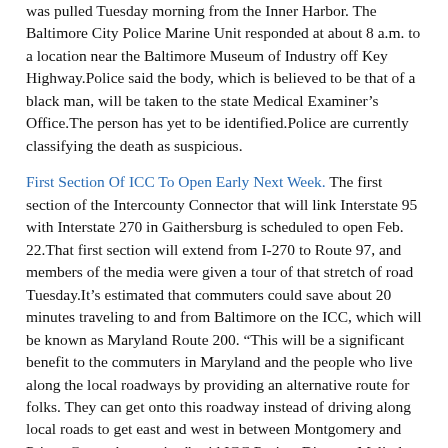was pulled Tuesday morning from the Inner Harbor. The Baltimore City Police Marine Unit responded at about 8 a.m. to a location near the Baltimore Museum of Industry off Key Highway.Police said the body, which is believed to be that of a black man, will be taken to the state Medical Examiner's Office.The person has yet to be identified.Police are currently classifying the death as suspicious.
First Section Of ICC To Open Early Next Week. The first section of the Intercounty Connector that will link Interstate 95 with Interstate 270 in Gaithersburg is scheduled to open Feb. 22.That first section will extend from I-270 to Route 97, and members of the media were given a tour of that stretch of road Tuesday.It's estimated that commuters could save about 20 minutes traveling to and from Baltimore on the ICC, which will be known as Maryland Route 200. “This will be a significant benefit to the commuters in Maryland and the people who live along the local roadways by providing an alternative route for folks. They can get onto this roadway instead of driving along local roads to get east and west in between Montgomery and Prince George’s counties,” said ICC Project Director Melinda Peters.
School Teacher Shot, Killed In MD. Grief counselors are